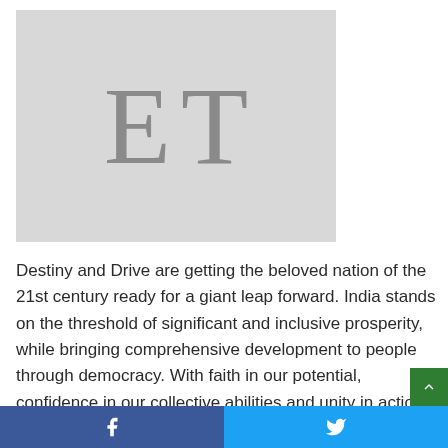[Figure (logo): Light gray placeholder image with 'ET' text in large serif letters, representing Economic Times logo placeholder]
Destiny and Drive are getting the beloved nation of the 21st century ready for a giant leap forward. India stands on the threshold of significant and inclusive prosperity, while bringing comprehensive development to people through democracy. With faith in our potential, confidence in our collective abilities and unity in action, we can surpass the world's expectations
Facebook share button | Twitter share button